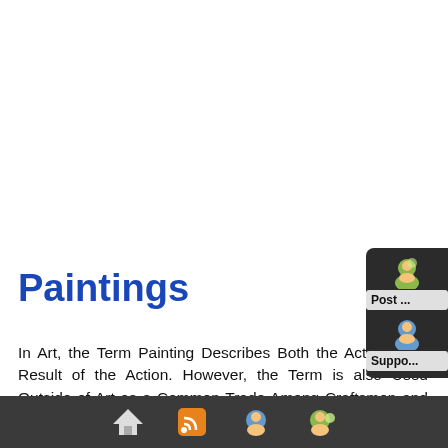Paintings
In Art, the Term Painting Describes Both the Act and the Result of the Action. However, the Term is also Used Outside of Art as a Common Trade Among Craftsmen and Builders. Painting is a Mode of Creative Expression, and the Forms are Numerous.
[Figure (screenshot): Dark popup widget panel with user icons and buttons labeled 'Post' and 'Suppo' (Support), partially visible on the right side of the page]
Navigation bar with home, RSS, user, and group icons